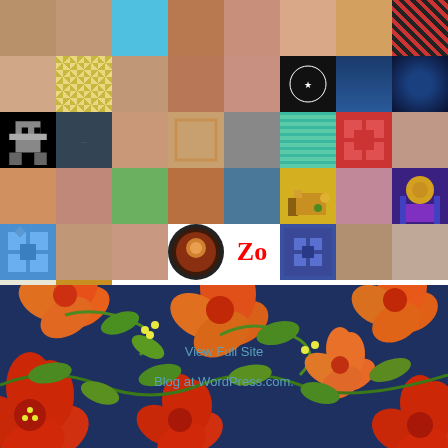[Figure (other): Grid of user avatar thumbnails - profile photos, quilt patterns, pixel art icons, and decorative images arranged in a mosaic grid layout. Approximately 42 avatar cells arranged in rows of 8.]
[Figure (illustration): Dark navy blue background with colorful floral botanical pattern featuring orange/red flowers, green vine leaves, and yellow/cream accents. Contains semi-transparent text links: 'View Full Site' and 'Blog at WordPress.com.']
View Full Site
Blog at WordPress.com.